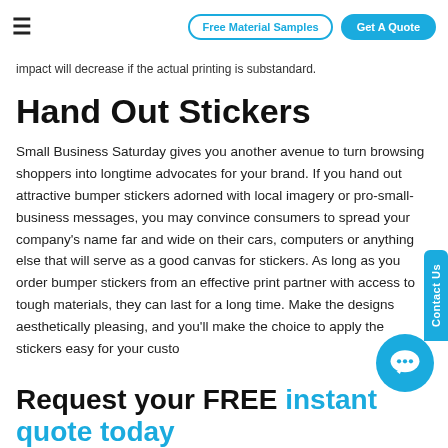≡  Free Material Samples  Get A Quote
impact will decrease if the actual printing is substandard.
Hand Out Stickers
Small Business Saturday gives you another avenue to turn browsing shoppers into longtime advocates for your brand. If you hand out attractive bumper stickers adorned with local imagery or pro-small-business messages, you may convince consumers to spread your company's name far and wide on their cars, computers or anything else that will serve as a good canvas for stickers. As long as you order bumper stickers from an effective print partner with access to tough materials, they can last for a long time. Make the designs aesthetically pleasing, and you'll make the choice to apply the stickers easy for your custo
Request your FREE instant quote today